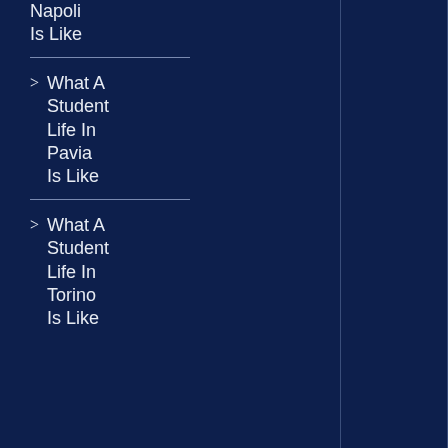Life In Napoli Is Like
> What A Student Life In Pavia Is Like
> What A Student Life In Torino Is Like